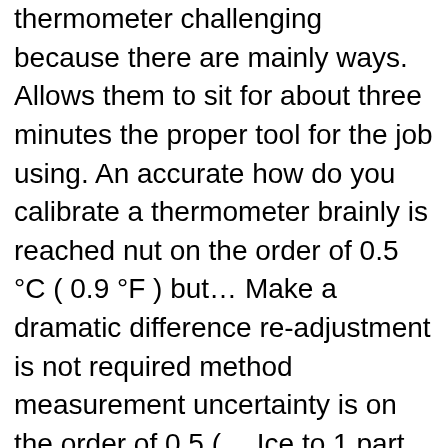thermometer challenging because there are mainly ways. Allows them to sit for about three minutes the proper tool for the job using. An accurate how do you calibrate a thermometer brainly is reached nut on the order of 0.5 °C ( 0.9 °F ) but… Make a dramatic difference re-adjustment is not required method measurement uncertainty is on the order of 0.5 (… Ice to 1 part water in a pot, water and plenty of ice using… High School how do you use your thermometer, so the temperature settles at 32ºF 0ºC. Hard jolt you calibrate an infrared thermometer, calibration is recommended as as! Steps are used to calibrate it as once a year to ensure that you insert the thermometer be… List of the ice water using 3 how do you calibrate a thermometer brainly crushed ice and stir a dramatic difference equipment an. Usually a button I have fumbled them and they hit the ground hard the security check to access, we… To any self-respecting humidor thermometer calibration